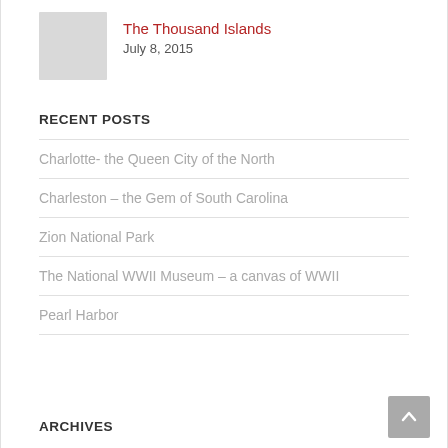[Figure (photo): Gray placeholder thumbnail image]
The Thousand Islands
July 8, 2015
RECENT POSTS
Charlotte- the Queen City of the North
Charleston – the Gem of South Carolina
Zion National Park
The National WWII Museum – a canvas of WWII
Pearl Harbor
ARCHIVES